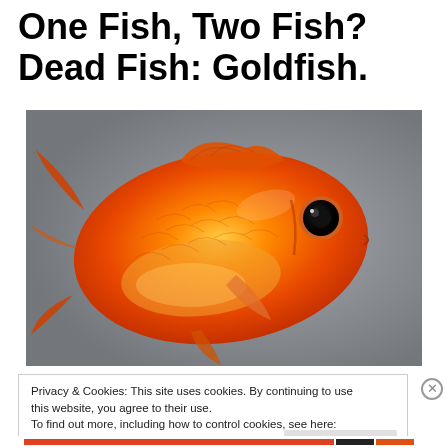One Fish, Two Fish? Dead Fish: Goldfish.
[Figure (photo): Close-up photograph of a vibrant orange goldfish against a blurred grey background, viewed from the side showing scales, fins, and a prominent eye.]
Privacy & Cookies: This site uses cookies. By continuing to use this website, you agree to their use.
To find out more, including how to control cookies, see here: Cookie Policy
Close and accept